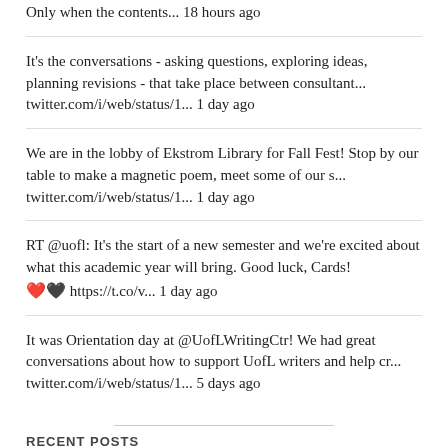Only when the contents... 18 hours ago
It's the conversations - asking questions, exploring ideas, planning revisions - that take place between consultant... twitter.com/i/web/status/1... 1 day ago
We are in the lobby of Ekstrom Library for Fall Fest! Stop by our table to make a magnetic poem, meet some of our s... twitter.com/i/web/status/1... 1 day ago
RT @uofl: It's the start of a new semester and we're excited about what this academic year will bring. Good luck, Cards! ❤️🖤 https://t.co/v... 1 day ago
It was Orientation day at @UofLWritingCtr! We had great conversations about how to support UofL writers and help cr... twitter.com/i/web/status/1... 5 days ago
RECENT POSTS